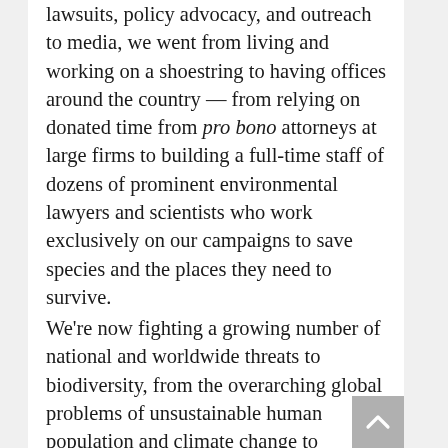lawsuits, policy advocacy, and outreach to media, we went from living and working on a shoestring to having offices around the country — from relying on donated time from pro bono attorneys at large firms to building a full-time staff of dozens of prominent environmental lawyers and scientists who work exclusively on our campaigns to save species and the places they need to survive.
We're now fighting a growing number of national and worldwide threats to biodiversity, from the overarching global problems of unsustainable human population and climate change to intensifying domestic sources of species endangerment, such as off-road vehicle excess. Based on our unparalleled record of legal successes — 83 percent of our [text continues below]